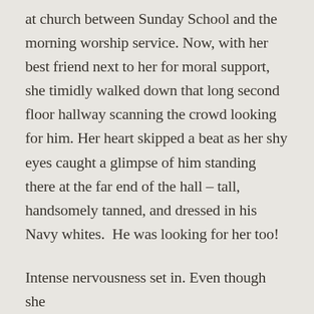at church between Sunday School and the morning worship service. Now, with her best friend next to her for moral support, she timidly walked down that long second floor hallway scanning the crowd looking for him. Her heart skipped a beat as her shy eyes caught a glimpse of him standing there at the far end of the hall – tall, handsomely tanned, and dressed in his Navy whites.  He was looking for her too!
Intense nervousness set in. Even though she